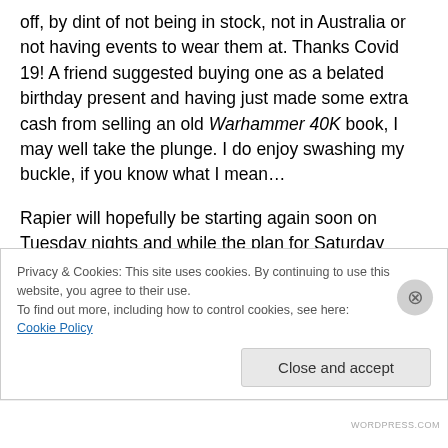off, by dint of not being in stock, not in Australia or not having events to wear them at. Thanks Covid 19! A friend suggested buying one as a belated birthday present and having just made some extra cash from selling an old Warhammer 40K book, I may well take the plunge. I do enjoy swashing my buckle, if you know what I mean…
Rapier will hopefully be starting again soon on Tuesday nights and while the plan for Saturday class has changed, I'm still hoping to make it back there as well. Before the break, the plan for term 4 in Saturday class was sword
Privacy & Cookies: This site uses cookies. By continuing to use this website, you agree to their use.
To find out more, including how to control cookies, see here: Cookie Policy
Close and accept